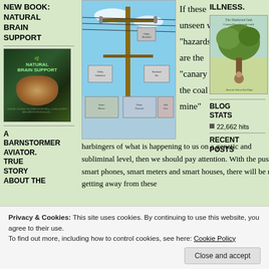NEW BOOK: NATURAL BRAIN SUPPORT
[Figure (photo): Book cover for Natural Brain Support with green background and brain image]
[Figure (photo): Utility pole with smart meter and electrical equipment diagram]
If these unseen wave “hazards” are the “canary in the coal mine” harbingers of what is happening to us on a genetic and subliminal level, then we should pay attention. With the push for smart phones, smart meters and smart houses, there will be no getting away from these
A BARNSTORMER AVIATOR. TRUE STORY ABOUT THE
ILLNESS.
[Figure (photo): Book cover for The Shattered Oak with tree and person scene]
BLOG STATS
22,662 hits
RECENT POSTS
Privacy & Cookies: This site uses cookies. By continuing to use this website, you agree to their use.
To find out more, including how to control cookies, see here: Cookie Policy
Close and accept
illnesses. Our advice is to fight the
perpetrators